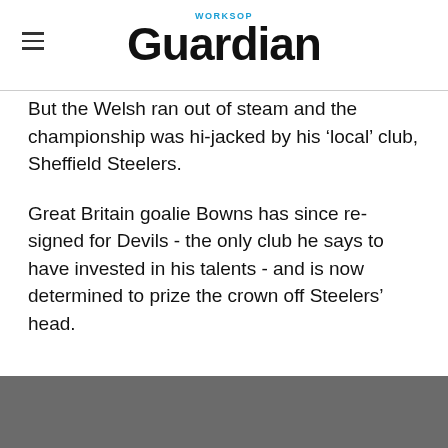WORKSOP Guardian
But the Welsh ran out of steam and the championship was hi-jacked by his ‘local’ club, Sheffield Steelers.
Great Britain goalie Bowns has since re-signed for Devils - the only club he says to have invested in his talents - and is now determined to prize the crown off Steelers’ head.